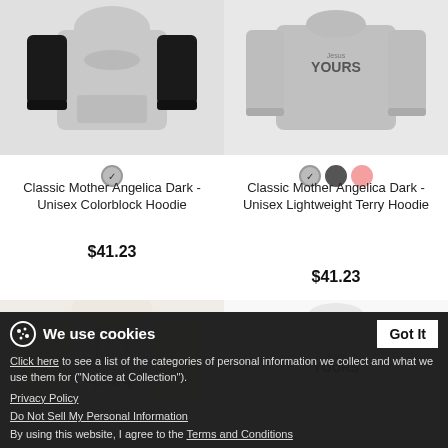[Figure (photo): Classic Mother Angelica Dark - Unisex Colorblock Hoodie product image, grey and black hoodie]
[Figure (photo): Classic Mother Angelica Dark - Unisex Lightweight Terry Hoodie product image, grey long sleeve hoodie]
Classic Mother Angelica Dark - Unisex Colorblock Hoodie
$41.23
Classic Mother Angelica Dark - Unisex Lightweight Terry Hoodie
$41.23
[Figure (photo): Partial view of a white/cream hoodie product]
[Figure (photo): Partial view of a white sweatshirt product with Jesus Yours logo]
We use cookies
Click here to see a list of the categories of personal information we collect and what we use them for ("Notice at Collection").
Privacy Policy
Do Not Sell My Personal Information
By using this website, I agree to the Terms and Conditions